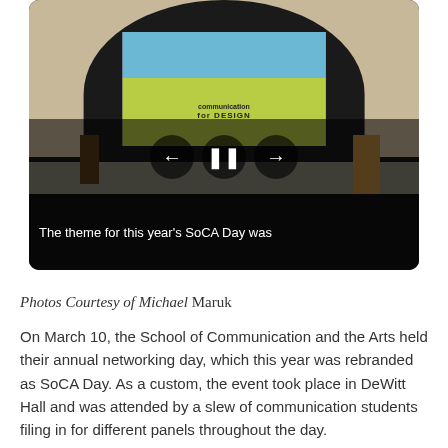[Figure (screenshot): A video screenshot showing an auditorium/hall with a stage, arched backdrop, projection screen displaying a presentation about 'communication by design', a speaker at a podium, video playback controls (back, pause, forward), and a caption bar reading 'The theme for this year's SoCA Day was']
Photos Courtesy of Michael Maruk
On March 10, the School of Communication and the Arts held their annual networking day, which this year was rebranded as SoCA Day. As a custom, the event took place in DeWitt Hall and was attended by a slew of communication students filing in for different panels throughout the day.
The theme was...